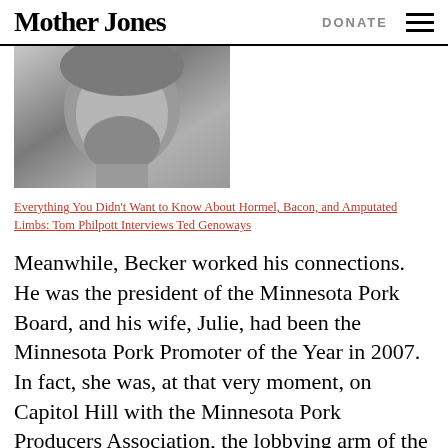Mother Jones | DONATE
[Figure (photo): Black and white close-up photo of a bearded man tilting his head]
Everything You Didn't Want to Know About Hormel, Bacon, and Amputated Limbs: Tom Philpott Interviews Ted Genoways
Meanwhile, Becker worked his connections. He was the president of the Minnesota Pork Board, and his wife, Julie, had been the Minnesota Pork Promoter of the Year in 2007. In fact, she was, at that very moment, on Capitol Hill with the Minnesota Pork Producers Association, the lobbying arm of the Pork Board, meeting with members of Congress. Becker called his wife so she could alert her fellow lobbyists. Then he placed another call to Cindy Cunningham…